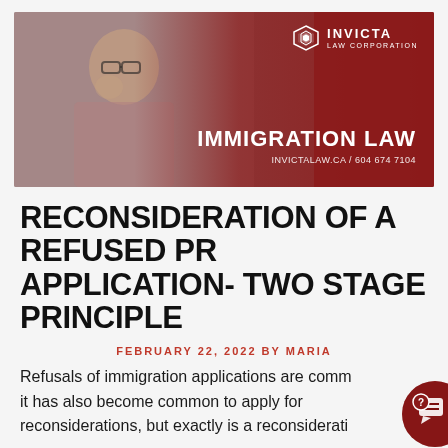[Figure (photo): Hero image showing a man with glasses and beard holding a phone, with a dark red gradient overlay. Invicta Law Corporation logo in top right. Text 'IMMIGRATION LAW' and 'INVICTALAW.CA / 604 674 7104' overlaid on the right side.]
RECONSIDERATION OF A REFUSED PR APPLICATION- TWO STAGE PRINCIPLE
FEBRUARY 22, 2022 BY MARIA
Refusals of immigration applications are comm... it has also become common to apply for reconsiderations, but exactly is a reconsiderati...